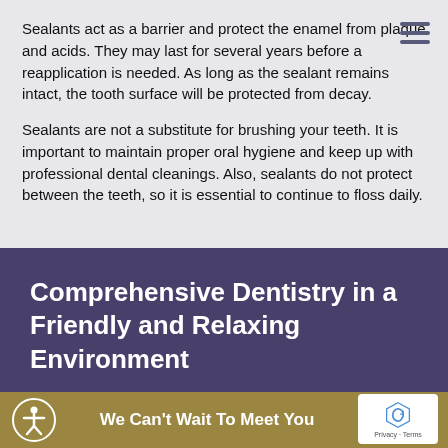Sealants act as a barrier and protect the enamel from plaque and acids. They may last for several years before a reapplication is needed. As long as the sealant remains intact, the tooth surface will be protected from decay.
Sealants are not a substitute for brushing your teeth. It is important to maintain proper oral hygiene and keep up with professional dental cleanings. Also, sealants do not protect between the teeth, so it is essential to continue to floss daily.
Comprehensive Dentistry in a Friendly and Relaxing Environment
We Can't Wait To Meet You